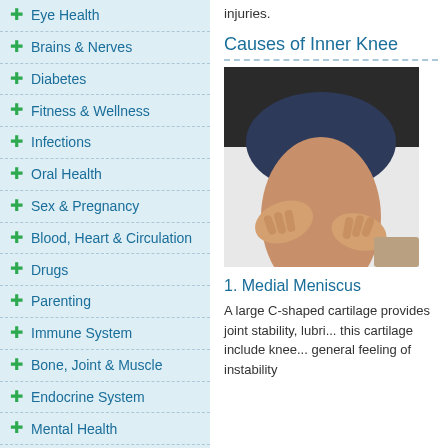Eye Health
Brains & Nerves
Diabetes
Fitness & Wellness
Infections
Oral Health
Sex & Pregnancy
Blood, Heart & Circulation
Drugs
Parenting
Immune System
Bone, Joint & Muscle
Endocrine System
Mental Health
Women's Health
Baby Health
Hair & Nails
Food & Nutrition
Pain Management
Kidney & Urinary System
injuries.
Causes of Inner Knee
[Figure (photo): Person holding their knee, showing inner knee pain area]
1. Medial Meniscus
A large C-shaped cartilage provides joint stability, lubri... this cartilage include knee... general feeling of instability